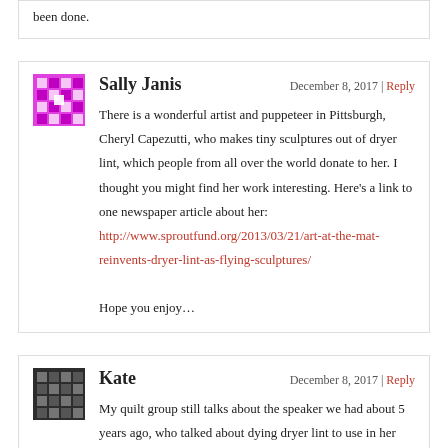been done.
Sally Janis
December 8, 2017 | Reply
There is a wonderful artist and puppeteer in Pittsburgh, Cheryl Capezutti, who makes tiny sculptures out of dryer lint, which people from all over the world donate to her. I thought you might find her work interesting. Here's a link to one newspaper article about her: http://www.sproutfund.org/2013/03/21/art-at-the-mat-reinvents-dryer-lint-as-flying-sculptures/
Hope you enjoy...
Kate
December 8, 2017 | Reply
My quilt group still talks about the speaker we had about 5 years ago, who talked about dying dryer lint to use in her quilts. To